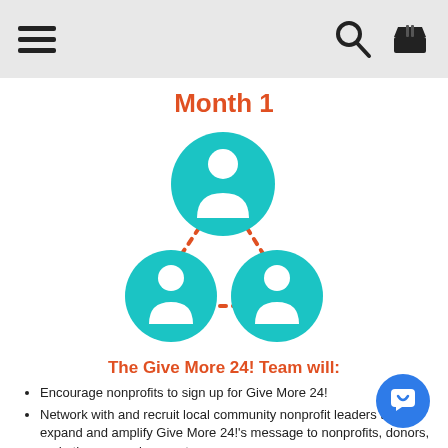Menu | Search | Basket
Month 1
[Figure (infographic): Three teal people/person icons arranged in a triangle: one at top center, two at bottom left and right, connected by orange dotted lines indicating a network or team relationship.]
The Give More 24! Team will:
Encourage nonprofits to sign up for Give More 24!
Network with and recruit local community nonprofit leaders to expand and amplify Give More 24!'s message to nonprofits, donors, and other general supporters